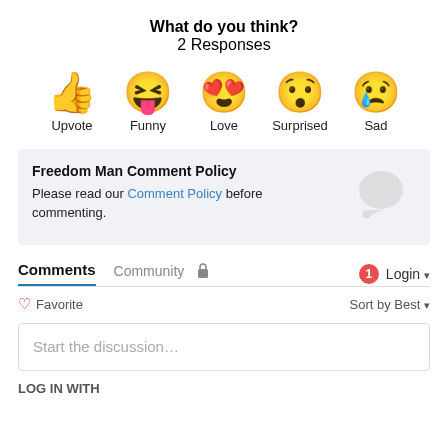What do you think?
2 Responses
[Figure (infographic): Five emoji reaction icons with labels: Upvote (thumbs up), Funny (squinting laughing face with tongue), Love (heart eyes), Surprised (open mouth surprised), Sad (crying face)]
Freedom Man Comment Policy
Please read our Comment Policy before commenting.
Comments  Community  [lock icon]  [1 badge]  Login
♡ Favorite   Sort by Best ▾
Start the discussion...
LOG IN WITH